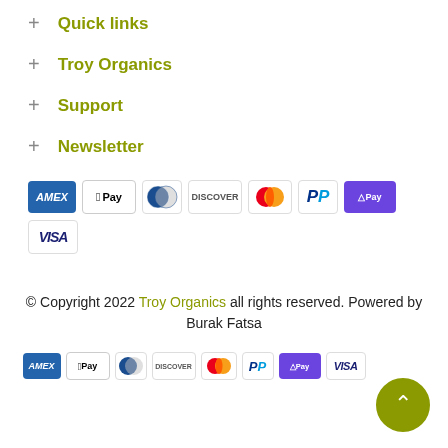+ Quick links
+ Troy Organics
+ Support
+ Newsletter
[Figure (other): Payment method icons: American Express, Apple Pay, Diners Club, Discover, Mastercard, PayPal, GPay, Visa]
© Copyright 2022 Troy Organics all rights reserved. Powered by Burak Fatsa
[Figure (other): Smaller payment method icons row: American Express, Apple Pay, Diners Club, Discover, Mastercard, PayPal, GPay, Visa]